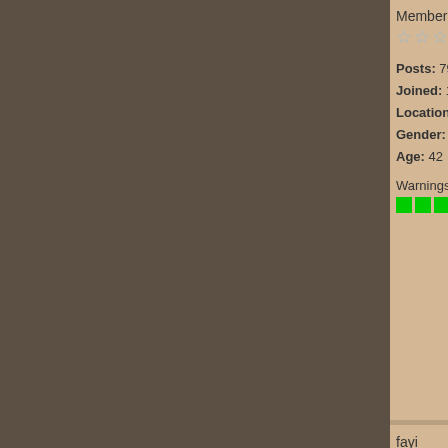Member
Posts: 79
Joined: 16.12.11
Location: Bratislava,SVK
Gender: male
Age: 42
Warnings:
Edited by H5N1 Bird F...
WEB
fayi
[Figure (illustration): No avatar placeholder image with target/bullseye and red graffiti text 'no avatar']
Offline
Junior Member
Posts: 16
Joined: 04.09.12
Warnings:
Posted on 12-11-2013 03:...
HHmmm, i think that pla... jump
Edited by fayi on 12-1...